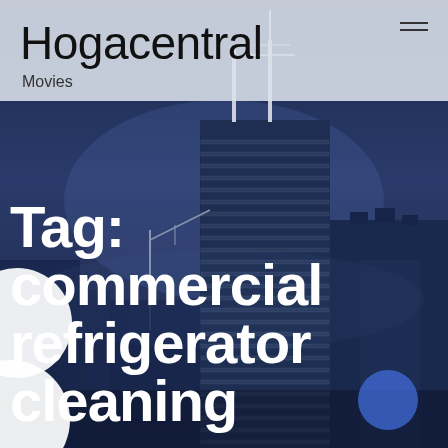Hogacentral
Movies
[Figure (illustration): City skyline at dusk with tall buildings and antenna towers against a dark blue sky background]
Tag: commercial refrigerator cleaning